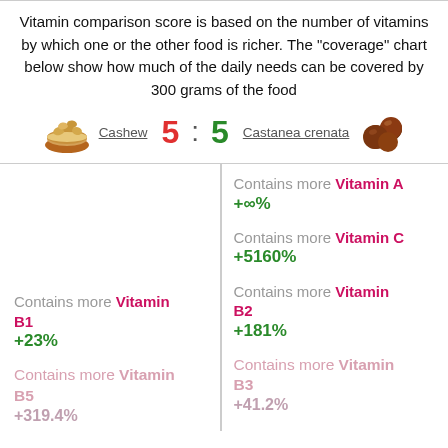Vitamin comparison score is based on the number of vitamins by which one or the other food is richer. The "coverage" chart below show how much of the daily needs can be covered by 300 grams of the food
Cashew  5 : 5  Castanea crenata
Contains more Vitamin A +∞%
Contains more Vitamin C +5160%
Contains more Vitamin B1 +23%
Contains more Vitamin B2 +181%
Contains more Vitamin B5 +319.4%
Contains more Vitamin B3 +41.2%